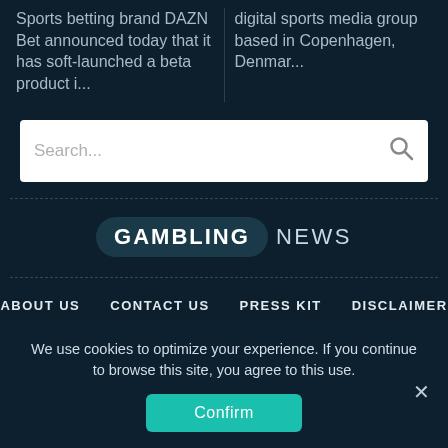Sports betting brand DAZN Bet announced today that it has soft-launched a beta product i...
digital sports media group based in Copenhagen, Denmar...
[Figure (screenshot): Search bar with placeholder text 'Search...' and a magnifying glass icon on a white background]
[Figure (logo): Gambling News logo — GAMBLING in a dark pill/badge, NEWS in plain text]
ABOUT US
CONTACT US
PRESS KIT
DISCLAIMER
TERMS AND CONDITIONS
PRIVACY POLICY
We use cookies to optimize your experience. If you continue to browse this site, you agree to this use.
Confirm